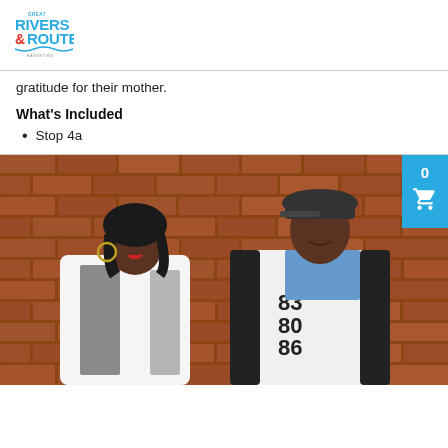Great Rivers & Routes
gratitude for their mother.
What's Included
Stop 4a
[Figure (photo): Two people standing in front of a brick wall. A woman wearing a white and black patterned cardigan with hoop earrings on the left, and a man wearing a white varsity jacket with number 83/80/86 and a flat cap on the right.]